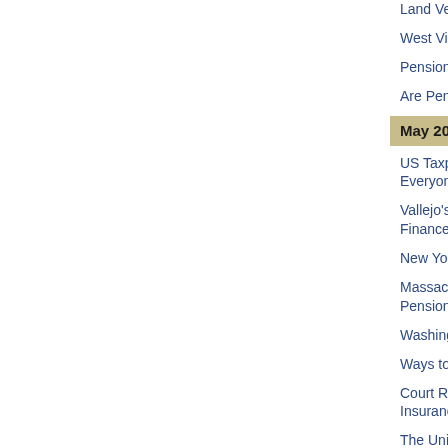Land Venture In
West Virginia E
Pension Reform
Are Pension Fu
May 20, 2008
US Taxpayers A Everyone Eligib
Vallejo's Bankru Finance System
New York Asse
Massachusetts R Pension
Washington Sta
Ways to Deal W
Court Rules Fra Insurance
The Union Poli
The Trouble Wi
May 19, 2008